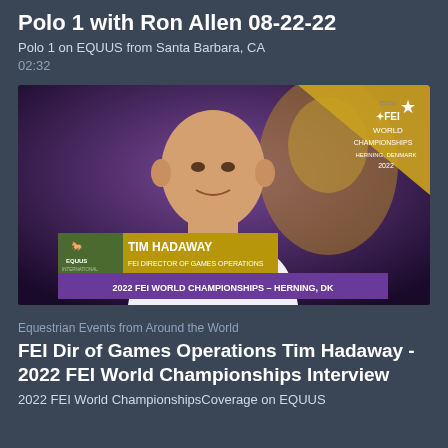Polo 1 with Ron Allen 08-22-22
Polo 1 on EQUUS from Santa Barbara, CA
02:32
[Figure (screenshot): Video thumbnail showing Tim Hadaway, FEI Director of Games Operations, being interviewed at the 2022 FEI World Championships in Herning, Denmark. He is a bald man in a white shirt. A golden/yellow lower-third graphic shows his name and title. A purple banner at the bottom reads '2022 FEI WORLD CHAMPIONSHIPS – HERNING, DK'. The EQUUS International logo appears bottom-left and the ECCO FEI World Championships Herning 2022 logo appears top-right.]
Equestrian Events from Around the World
FEI Dir of Games Operations Tim Hadaway - 2022 FEI World Championships Interview
2022 FEI World ChampionshipsCoverage on EQUUS